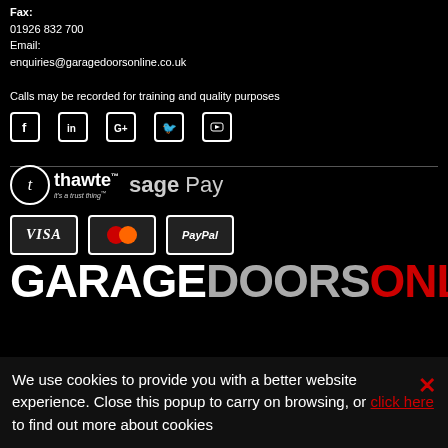Fax:
01926 832 700
Email:
enquiries@garagedoorsonline.co.uk
Calls may be recorded for training and quality purposes
[Figure (infographic): Social media icons: Facebook, LinkedIn, Google+, Twitter, YouTube]
[Figure (logo): Thawte trust badge and Sage Pay logo]
[Figure (infographic): Payment method logos: VISA, Mastercard, PayPal]
GARAGEDOORSONLINE
We use cookies to provide you with a better website experience. Close this popup to carry on browsing, or click here to find out more about cookies